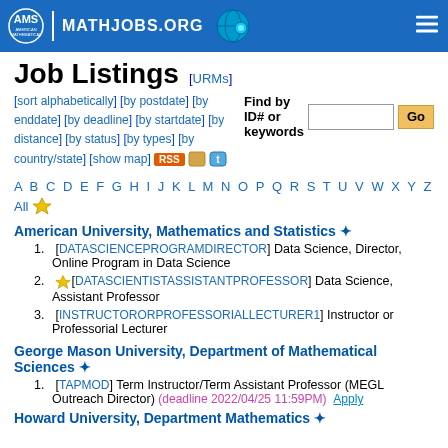[Figure (logo): AMS American Mathematical Society MathJobs.org header bar with globe icon and hamburger menu]
Job Listings [URMs]
[sort alphabetically] [by postdate] [by enddate] [by deadline] [by startdate] [by distance] [by status] [by types] [by country/state] [show map] RSS
Find by ID# or keywords   Go
A B C D E F G H I J K L M N O P Q R S T U V W X Y Z All
American University, Mathematics and Statistics *
1. [DATASCIENCEPROGRAMDIRECTOR] Data Science, Director, Online Program in Data Science
2. [DATASCIENTISTASSISTANTPROFESSOR] Data Science, Assistant Professor
3. [INSTRUCTORORPROFESSORIALLECTURER1] Instructor or Professorial Lecturer
George Mason University, Department of Mathematical Sciences *
1. [TAPMOD] Term Instructor/Term Assistant Professor (MEGL Outreach Director) (deadline 2022/04/25 11:59PM)   Apply
Howard University, Department Mathematics *